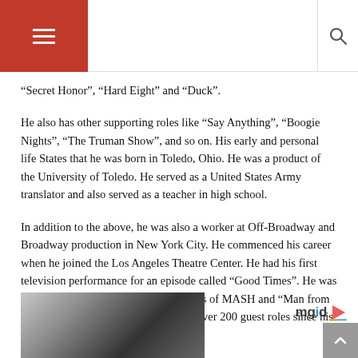Navigation header with hamburger menu and search icon
“Secret Honor”, “Hard Eight” and “Duck”.
He also has other supporting roles like “Say Anything”, “Boogie Nights”, “The Truman Show”, and so on. His early and personal life States that he was born in Toledo, Ohio. He was a product of the University of Toledo. He served as a United States Army translator and also served as a teacher in high school.
In addition to the above, he was also a worker at Off-Broadway and Broadway production in New York City. He commenced his career when he joined the Los Angeles Theatre Center. He had his first television performance for an episode called “Good Times”. He was known to have guest-starred in episodes of MASH and “Man from Atlantis”. He was known to have had over 200 guest roles since his career inception.
[Figure (photo): Partial photo of a person visible at bottom left of the page]
[Figure (logo): mgid logo with play button icon at bottom right]